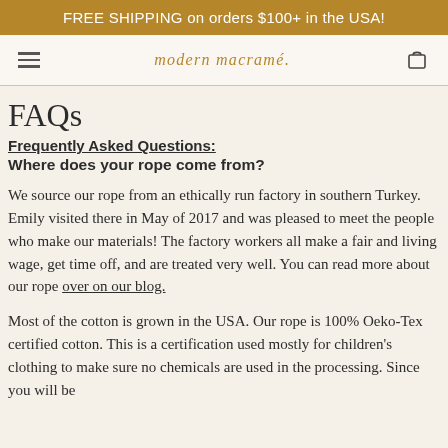FREE SHIPPING on orders $100+ in the USA!
modern macramé.
FAQs
Frequently Asked Questions:
Where does your rope come from?
We source our rope from an ethically run factory in southern Turkey. Emily visited there in May of 2017 and was pleased to meet the people who make our materials! The factory workers all make a fair and living wage, get time off, and are treated very well. You can read more about our rope over on our blog.
Most of the cotton is grown in the USA. Our rope is 100% Oeko-Tex certified cotton. This is a certification used mostly for children's clothing to make sure no chemicals are used in the processing. Since you will be